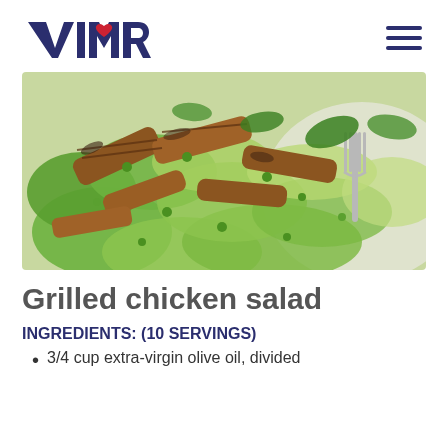VIVRI
[Figure (photo): Grilled chicken salad with green lettuce leaves, peas, and a fork on a white plate]
Grilled chicken salad
INGREDIENTS: (10 SERVINGS)
3/4 cup extra-virgin olive oil, divided